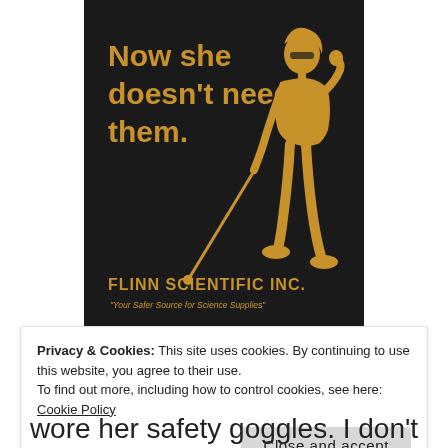[Figure (illustration): Flinn Scientific Inc. safety poster with dark background showing a woman using a white blind cane with text 'Now she doesn't need them.' and tagline 'Your Safer Source for Science Supplies']
Privacy & Cookies: This site uses cookies. By continuing to use this website, you agree to their use.
To find out more, including how to control cookies, see here: Cookie Policy
Close and accept
wore her safety goggles. I don't